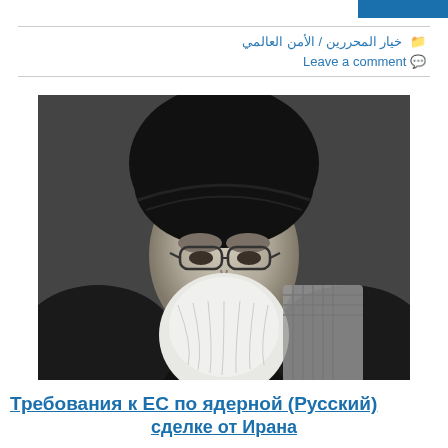خيار المحررين / الأمن العالمي
Leave a comment
[Figure (photo): Black and white portrait photo of a bearded elderly man wearing a black turban and glasses, dressed in dark clerical robes with a patterned scarf]
Требования к ЕС по ядерной (Русский)
сделке от Ирана